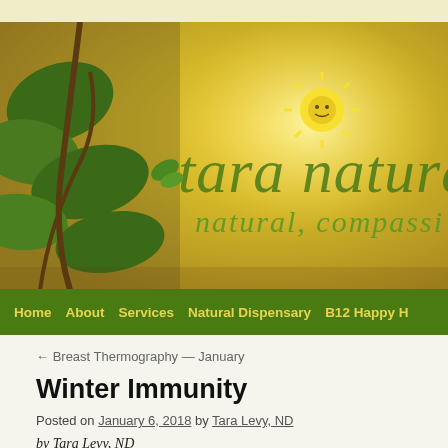[Figure (illustration): Tara Natural Health website banner with artistic nature illustration featuring leaves and flowers on golden/yellow background with text 'tara natural' and 'natural, compassi...' (tagline cut off)]
Home   About   Services   Natural Dispensary   B12 Happy H...
← Breast Thermography — January
Winter Immunity
Posted on January 6, 2018 by Tara Levy, ND
by Tara Levy, ND